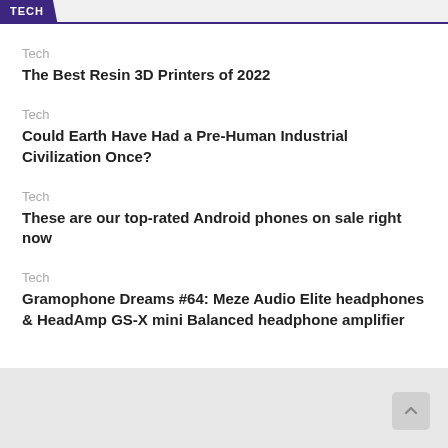TECH
Tech
The Best Resin 3D Printers of 2022
Tech
Could Earth Have Had a Pre-Human Industrial Civilization Once?
Tech
These are our top-rated Android phones on sale right now
Tech
Gramophone Dreams #64: Meze Audio Elite headphones & HeadAmp GS-X mini Balanced headphone amplifier